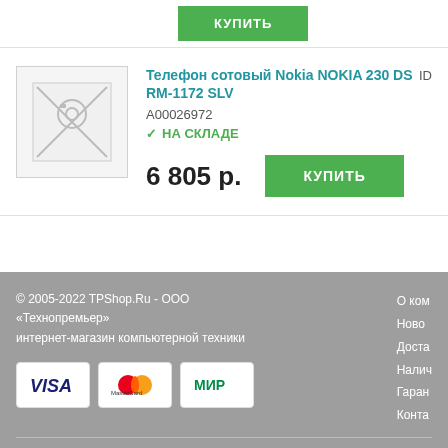[Figure (other): Green 'КУПИТЬ' (buy) button at top]
Телефон сотовый Nokia NOKIA 230 DS RM-1172 SLV
A00026972
НА СКЛАДЕ
6 805 р.
КУПИТЬ
© 2005-2022 TPShop.Ru - ООО «Технопремьер» интернет-магазин компьютерной техники
О ко...
Ново...
Доста...
Налич...
Гаран...
Конта...